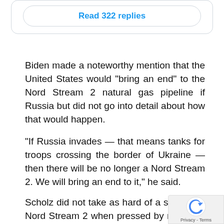[Figure (screenshot): Tweet card with a 'Read 322 replies' button inside a rounded rectangle border]
Biden made a noteworthy mention that the United States would “bring an end” to the Nord Stream 2 natural gas pipeline if Russia but did not go into detail about how that would happen.
“If Russia invades — that means tanks for troops crossing the border of Ukraine — then there will be no longer a Nord Stream 2. We will bring an end to it,” he said.
Scholz did not take as hard of a stance on Nord Stream 2 when pressed by reporters at the White House, saying Germany was “acting together” w allies and promising “very, very harsh” steps against